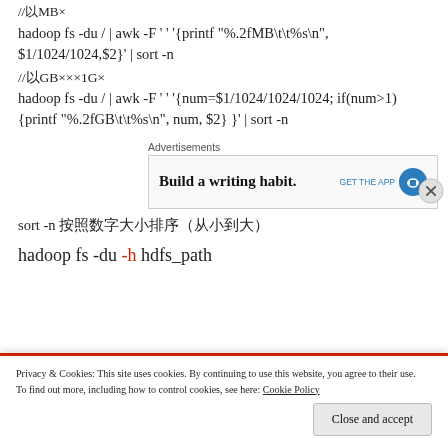//以MB×
hadoop fs -du / | awk -F ' ' '{printf "%.2fMB\t\t%s\n", $1/1024/1024,$2}' | sort -n
//以GB×××1G×
hadoop fs -du / | awk -F ' ' '{num=$1/1024/1024/1024; if(num>1) {printf "%.2fGB\t\t%s\n", num, $2} }' | sort -n
[Figure (screenshot): Advertisement banner with text 'Build a writing habit.' and GET THE APP button with blue headphone icon]
sort -n 按照数字大小排序（从小到大）
hadoop fs -du -h hdfs_path
Privacy & Cookies: This site uses cookies. By continuing to use this website, you agree to their use. To find out more, including how to control cookies, see here: Cookie Policy
Close and accept